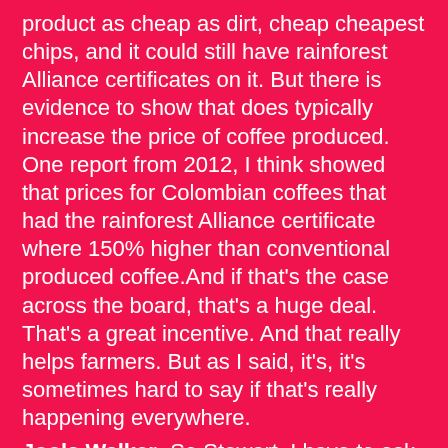product as cheap as dirt, cheap cheapest chips, and it could still have rainforest Alliance certificates on it. But there is evidence to show that does typically increase the price of coffee produced. One report from 2012, I think showed that prices for Colombian coffees that had the rainforest Alliance certificate where 150% higher than conventional produced coffee.And if that's the case across the board, that's a huge deal. That's a great incentive. And that really helps farmers. But as I said, it's, it's sometimes hard to say if that's really happening everywhere.
Jools Walker: So Stewart, I have to ask some questions about organic. I'm kind of looking for a little bit of dirt. Is it all right for me to ask, what are the downsides of organic certification?
Stuart Ritson: Yeah, one of the things that stands out to me as being kind of unfair about the way organic works is that they have this conversion period. So if I run a normal coffee farm and I like